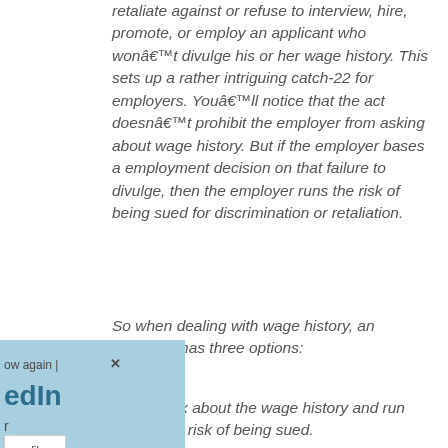retaliate against or refuse to interview, hire, promote, or employ an applicant who wonât divulge his or her wage history. This sets up a rather intriguing catch-22 for employers. Youâll notice that the act doesnât prohibit the employer from asking about wage history. But if the employer bases a employment decision on that failure to divulge, then the employer runs the risk of being sued for discrimination or retaliation.
So when dealing with wage history, an employer has three options:
Ask about the wage history and run the risk of being sued.